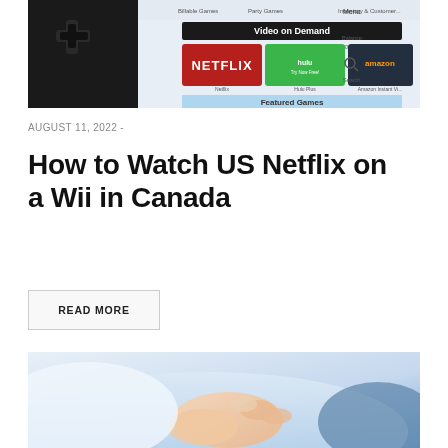[Figure (screenshot): Screenshot of a Nintendo Wii menu showing Video on Demand options including Netflix, Hulu, Amazon, and YouTube tiles, with a Wii remote visible on the left side.]
AUGUST 11, 2022  -
How to Watch US Netflix on a Wii in Canada
READ MORE
[Figure (photo): Close-up photo of a person's hands folded together, wearing a light blue shirt, with a blurred blue background.]